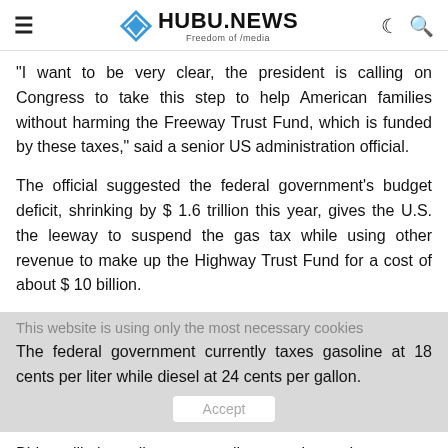HUBU.NEWS — Freedom of /media
“I want to be very clear, the president is calling on Congress to take this step to help American families without harming the Freeway Trust Fund, which is funded by these taxes,” said a senior US administration official.
The official suggested the federal government’s budget deficit, shrinking by $ 1.6 trillion this year, gives the U.S. the leeway to suspend the gas tax while using other revenue to make up the Highway Trust Fund for a cost of about $ 10 billion.
This website is using only the most necessary cookies
The federal government currently taxes gasoline at 18 cents per liter while diesel at 24 cents per gallon.
Biden will also call on states, oil companies and